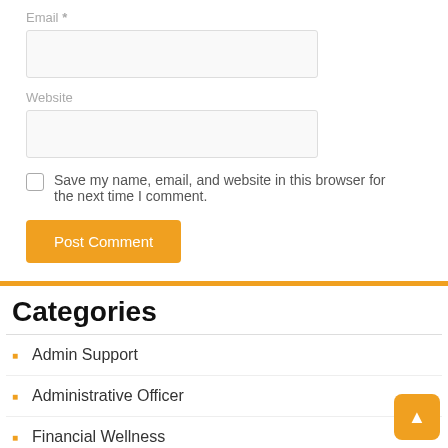Email *
Website
Save my name, email, and website in this browser for the next time I comment.
Post Comment
Categories
Admin Support
Administrative Officer
Financial Wellness
Office Worker
Remote Work